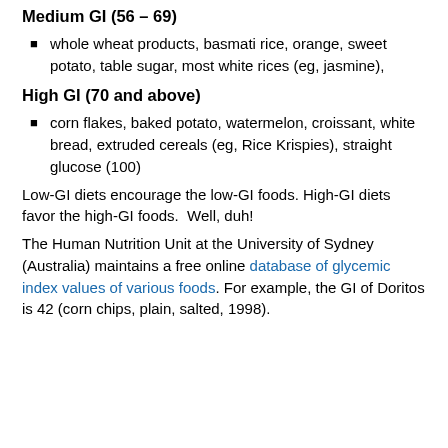Medium GI (56 – 69)
whole wheat products, basmati rice, orange, sweet potato, table sugar, most white rices (eg, jasmine),
High GI (70 and above)
corn flakes, baked potato, watermelon, croissant, white bread, extruded cereals (eg, Rice Krispies), straight glucose (100)
Low-GI diets encourage the low-GI foods. High-GI diets favor the high-GI foods.  Well, duh!
The Human Nutrition Unit at the University of Sydney (Australia) maintains a free online database of glycemic index values of various foods. For example, the GI of Doritos is 42 (corn chips, plain, salted, 1998).